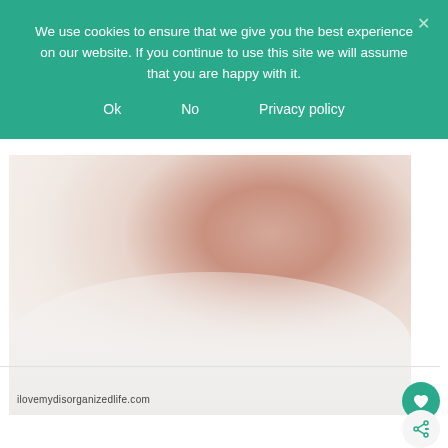We use cookies to ensure that we give you the best experience on our website. If you continue to use this site we will assume that you are happy with it.
Ok
No
Privacy policy
[Figure (photo): Close-up photo of a baby's face and shoulder, with watermark text 'ilovemydisorganizedlife.com' in the lower left corner.]
1